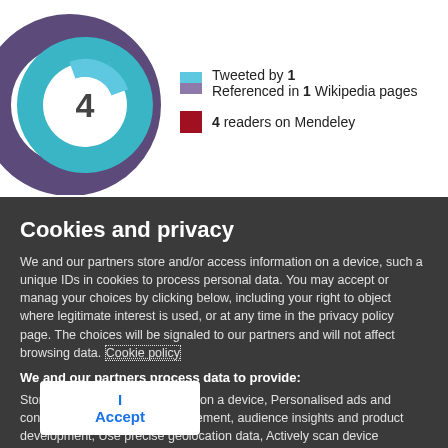[Figure (logo): Altmetric donut logo with number 4 in the center, showing concentric rings in purple, teal/blue colors]
Tweeted by 1
Referenced in 1 Wikipedia pages
4 readers on Mendeley
Cookies and privacy
We and our partners store and/or access information on a device, such a unique IDs in cookies to process personal data. You may accept or manage your choices by clicking below, including your right to object where legitimate interest is used, or at any time in the privacy policy page. These choices will be signaled to our partners and will not affect browsing data. Cookie policy
We and our partners process data to provide:
Store and/or access information on a device, Personalised ads and content, ad and content measurement, audience insights and product development, Use precise geolocation data, Actively scan device characteristics for identification
List of Partners (vendors)
I Accept